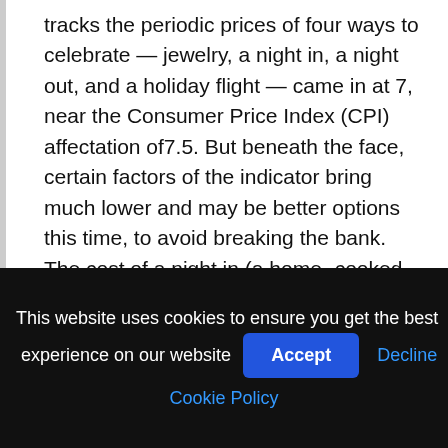tracks the periodic prices of four ways to celebrate — jewelry, a night in, a night out, and a holiday flight — came in at 7, near the Consumer Price Index (CPI) affectation of7.5. But beneath the face, certain factors of the indicator bring much lower and may be better options this time, to avoid breaking the bank. The cost of a night in (a home- cooked mess, wine, flowers and delicacy) and a night out ( regale at a eatery, a babysitter, and theater tickets) were over4.0 and4.7, independently, below the broader affectation indicators.
This website uses cookies to ensure you get the best experience on our website
Accept
Decline
Cookie Policy